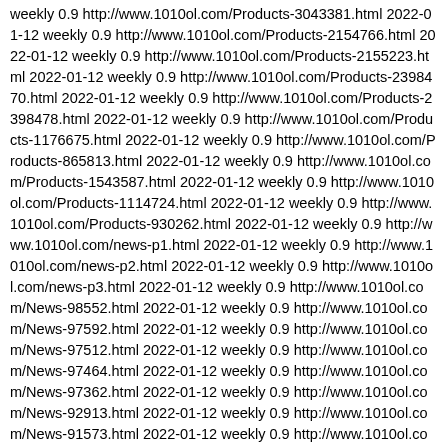weekly 0.9 http://www.1010ol.com/Products-3043381.html 2022-01-12 weekly 0.9 http://www.1010ol.com/Products-2154766.html 2022-01-12 weekly 0.9 http://www.1010ol.com/Products-2155223.html 2022-01-12 weekly 0.9 http://www.1010ol.com/Products-2398470.html 2022-01-12 weekly 0.9 http://www.1010ol.com/Products-2398478.html 2022-01-12 weekly 0.9 http://www.1010ol.com/Products-1176675.html 2022-01-12 weekly 0.9 http://www.1010ol.com/Products-865813.html 2022-01-12 weekly 0.9 http://www.1010ol.com/Products-1543587.html 2022-01-12 weekly 0.9 http://www.1010ol.com/Products-1114724.html 2022-01-12 weekly 0.9 http://www.1010ol.com/Products-930262.html 2022-01-12 weekly 0.9 http://www.1010ol.com/news-p1.html 2022-01-12 weekly 0.9 http://www.1010ol.com/news-p2.html 2022-01-12 weekly 0.9 http://www.1010ol.com/news-p3.html 2022-01-12 weekly 0.9 http://www.1010ol.com/News-98552.html 2022-01-12 weekly 0.9 http://www.1010ol.com/News-97592.html 2022-01-12 weekly 0.9 http://www.1010ol.com/News-97512.html 2022-01-12 weekly 0.9 http://www.1010ol.com/News-97464.html 2022-01-12 weekly 0.9 http://www.1010ol.com/News-97362.html 2022-01-12 weekly 0.9 http://www.1010ol.com/News-92913.html 2022-01-12 weekly 0.9 http://www.1010ol.com/News-91573.html 2022-01-12 weekly 0.9 http://www.1010ol.com/News-89145.html 2022-01-12 weekly 0.9 http://www.1010ol.com/News-88248.html 2022-01-12 weekly 0.9 http://www.1010ol.com/News-87930.html